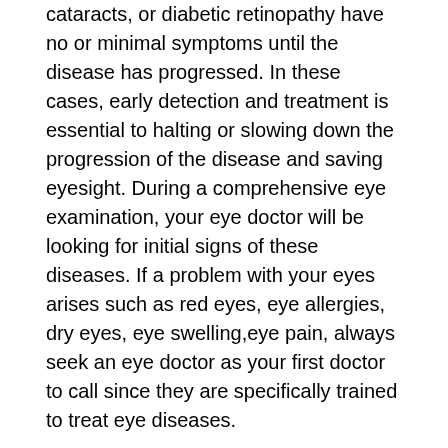cataracts, or diabetic retinopathy have no or minimal symptoms until the disease has progressed. In these cases, early detection and treatment is essential to halting or slowing down the progression of the disease and saving eyesight. During a comprehensive eye examination, your eye doctor will be looking for initial signs of these diseases. If a problem with your eyes arises such as red eyes, eye allergies, dry eyes, eye swelling,eye pain, always seek an eye doctor as your first doctor to call since they are specifically trained to treat eye diseases.
Eye Exams and Children
If your child is having developmental delays or trouble in school there could be an underlying vision problem. Proper learning, motor development, reading, and many other skills are dependent upon not only good vision, but your eyes functioning together. Children that have